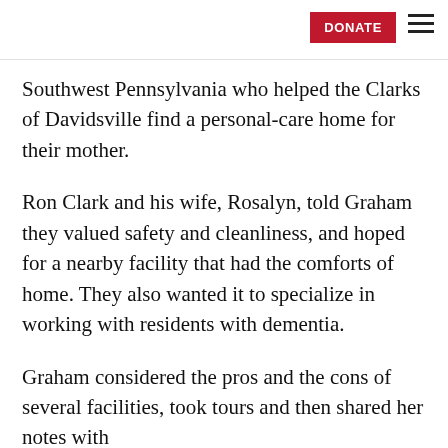DONATE
Southwest Pennsylvania who helped the Clarks of Davidsville find a personal-care home for their mother.
Ron Clark and his wife, Rosalyn, told Graham they valued safety and cleanliness, and hoped for a nearby facility that had the comforts of home. They also wanted it to specialize in working with residents with dementia.
Graham considered the pros and the cons of several facilities, took tours and then shared her notes with the family, helping them come to a final decision.